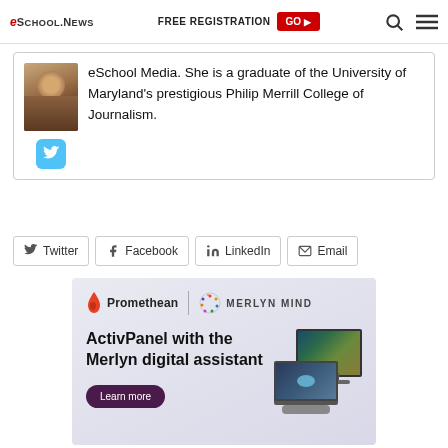eSchool News | FREE REGISTRATION GO
eSchool Media. She is a graduate of the University of Maryland's prestigious Philip Merrill College of Journalism.
Twitter
Facebook
LinkedIn
Email
[Figure (infographic): Promethean and Merlyn Mind advertisement banner showing ActivPanel with the Merlyn digital assistant, with a Learn more button and image of a monitor and laptop displaying an underwater scene.]